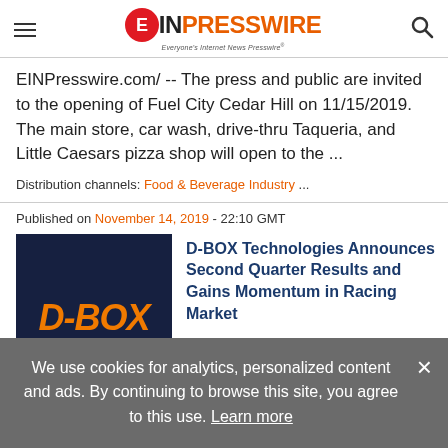[Figure (logo): EINPresswire logo with red circular E, PRESSWIRE text, and tagline 'Everyone's Internet News Presswire']
EINPresswire.com/ -- The press and public are invited to the opening of Fuel City Cedar Hill on 11/15/2019. The main store, car wash, drive-thru Taqueria, and Little Caesars pizza shop will open to the ...
Distribution channels: Food & Beverage Industry ...
Published on November 14, 2019 - 22:10 GMT
[Figure (logo): D-BOX orange italic logo on dark navy blue background]
D-BOX Technologies Announces Second Quarter Results and Gains Momentum in Racing Market
LONGUEUIL, Quebec, Nov. 14, 2019 (GLOBE NEWSWIRE) -- D-BOX
We use cookies for analytics, personalized content and ads. By continuing to browse this site, you agree to this use. Learn more